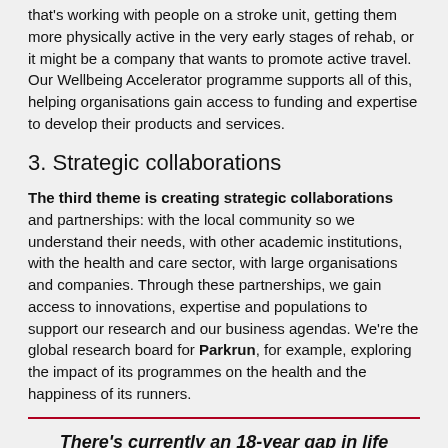that's working with people on a stroke unit, getting them more physically active in the very early stages of rehab, or it might be a company that wants to promote active travel. Our Wellbeing Accelerator programme supports all of this, helping organisations gain access to funding and expertise to develop their products and services.
3. Strategic collaborations
The third theme is creating strategic collaborations and partnerships: with the local community so we understand their needs, with other academic institutions, with the health and care sector, with large organisations and companies. Through these partnerships, we gain access to innovations, expertise and populations to support our research and our business agendas. We're the global research board for Parkrun, for example, exploring the impact of its programmes on the health and the happiness of its runners.
There's currently an 18-year gap in life